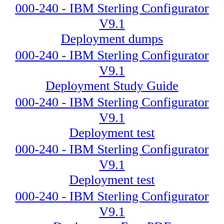000-240 - IBM Sterling Configurator V9.1 Deployment dumps
000-240 - IBM Sterling Configurator V9.1 Deployment Study Guide
000-240 - IBM Sterling Configurator V9.1 Deployment test
000-240 - IBM Sterling Configurator V9.1 Deployment test
000-240 - IBM Sterling Configurator V9.1 Deployment Free PDF
000-240 - IBM Sterling Configurator V9.1 Deployment outline
000-240 - IBM Sterling Configurator V9.1 Deployment certification
000-240 - IBM Sterling Configurator V9.1 Deployment test format
000-240 - IBM Sterling Configurator V9.1